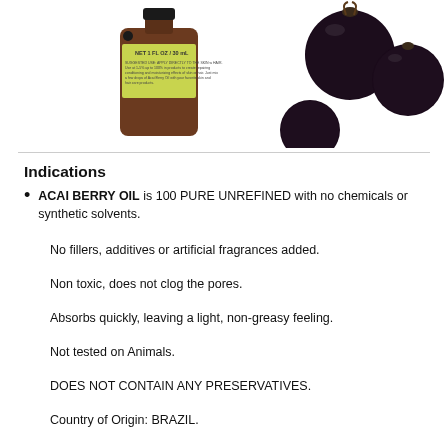[Figure (photo): Product photo showing a small amber glass bottle of Acai Berry Oil (NET 1 FL OZ / 30 mL) with a green label, alongside several dark purple/black acai berries.]
Indications
ACAI BERRY OIL is 100 PURE UNREFINED with no chemicals or synthetic solvents.
No fillers, additives or artificial fragrances added.
Non toxic, does not clog the pores.
Absorbs quickly, leaving a light, non-greasy feeling.
Not tested on Animals.
DOES NOT CONTAIN ANY PRESERVATIVES.
Country of Origin: BRAZIL.